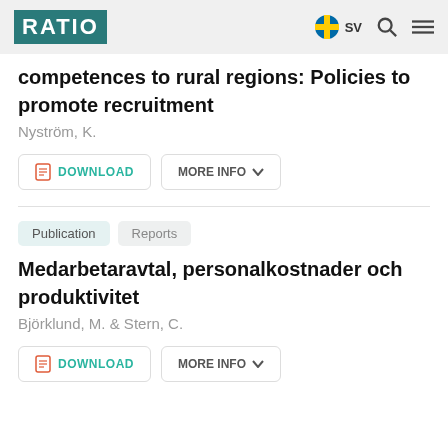RATIO  SV
competences to rural regions: Policies to promote recruitment
Nyström, K.
DOWNLOAD   MORE INFO
Publication   Reports
Medarbetaravtal, personalkostnader och produktivitet
Björklund, M. & Stern, C.
DOWNLOAD   MORE INFO